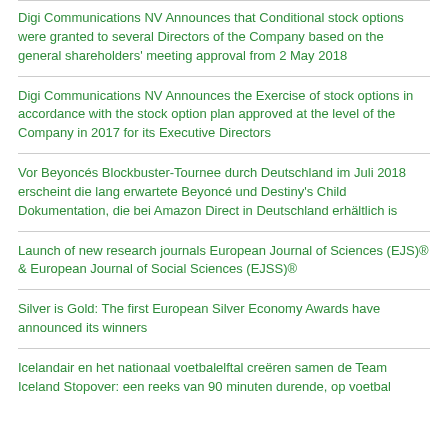Digi Communications NV Announces that Conditional stock options were granted to several Directors of the Company based on the general shareholders' meeting approval from 2 May 2018
Digi Communications NV Announces the Exercise of stock options in accordance with the stock option plan approved at the level of the Company in 2017 for its Executive Directors
Vor Beyoncés Blockbuster-Tournee durch Deutschland im Juli 2018 erscheint die lang erwartete Beyoncé und Destiny's Child Dokumentation, die bei Amazon Direct in Deutschland erhältlich is
Launch of new research journals European Journal of Sciences (EJS)® & European Journal of Social Sciences (EJSS)®
Silver is Gold: The first European Silver Economy Awards have announced its winners
Icelandair en het nationaal voetbalelftal creëren samen de Team Iceland Stopover: een reeks van 90 minuten durende, op voetbal